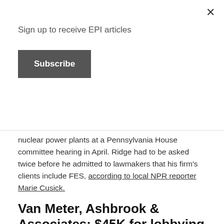Sign up to receive EPI articles
Subscribe
nuclear power plants at a Pennsylvania House committee hearing in April. Ridge had to be asked twice before he admitted to lawmakers that his firm's clients include FES, according to local NPR reporter Marie Cusick.
Van Meter, Ashbrook & Associates: $45K for lobbying
FES has also paid $45,000 to Van Meter, Ashbrook & Associates.
A bankruptcy filing reveals that Van Meter, Ashbrook & Associate is charging FES a monthly fee of $15,000 for